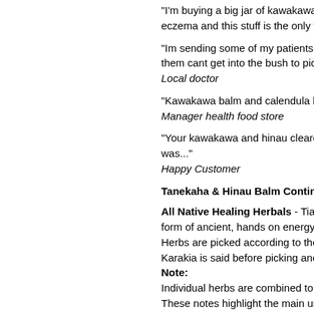"I'm buying a big jar of kawakawa and hina eczema and this stuff is the only thing that
"Im sending some of my patients down to t them cant get into the bush to pick the plar Local doctor
"Kawakawa balm and calendula balm are ou Manager health food store
"Your kawakawa and hinau cleared up my st was..." Happy Customer
Tanekaha & Hinau Balm Continued -
All Native Healing Herbals - Tia's From Hea form of ancient, hands on energy healing to Herbs are picked according to the moon pha Karakia is said before picking and also at th Note: Individual herbs are combined to give a ver These notes highlight the main uses for eac healing applications. Balm or cream applications are not specific Simply apply as needed. Often it is beneficia